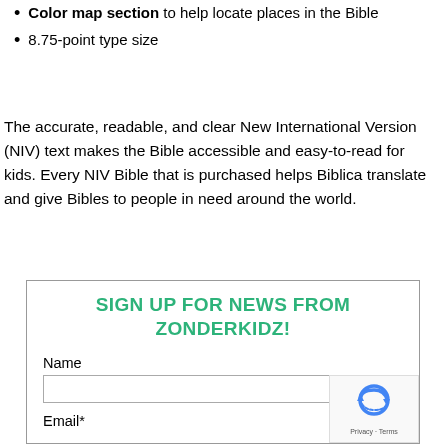Color map section to help locate places in the Bible
8.75-point type size
The accurate, readable, and clear New International Version (NIV) text makes the Bible accessible and easy-to-read for kids. Every NIV Bible that is purchased helps Biblica translate and give Bibles to people in need around the world.
SIGN UP FOR NEWS FROM ZONDERKIDZ!
Name
Email*